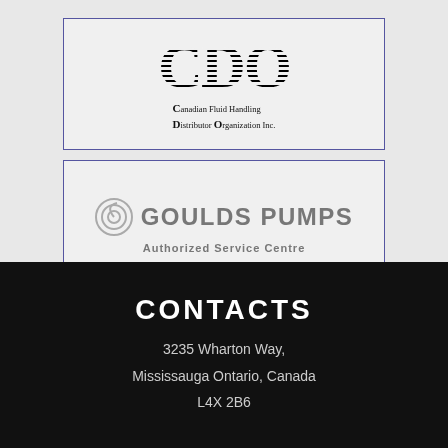[Figure (logo): CDO — Canadian Fluid Handling Distributor Organization Inc. logo with striped letters CDO and full name below]
[Figure (logo): Goulds Pumps Authorized Service Centre logo with spiral icon and grey text]
CONTACTS
3235 Wharton Way,
Mississauga Ontario, Canada
L4X 2B6